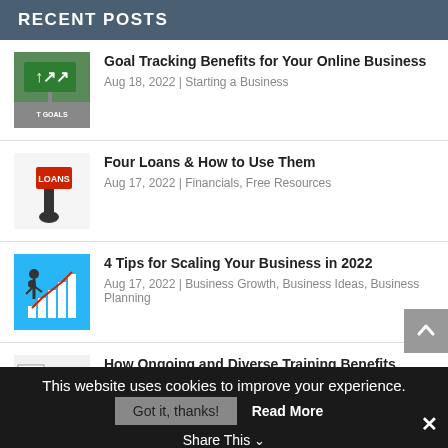RECENT POSTS
Goal Tracking Benefits for Your Online Business
Aug 18, 2022 | Starting a Business
Four Loans & How to Use Them
Aug 17, 2022 | Financials, Free Resources
4 Tips for Scaling Your Business in 2022
Aug 17, 2022 | Business Growth, Business Ideas, Business Planning
How Ongoing and Diverse Training Benefits Businesses (and Employees)
Aug 16, 2022 | Business Growth, Business Ideas,
This website uses cookies to improve your experience.
Got it, thanks!  Read More
Share This